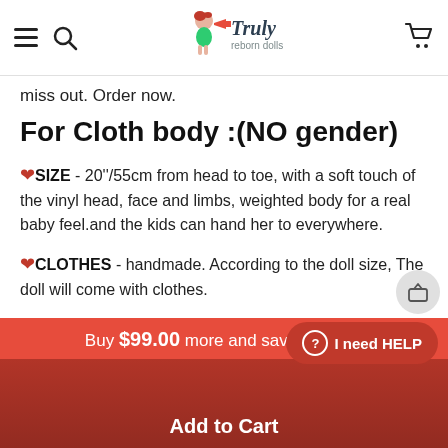Truly reborn dolls - navigation header with hamburger menu, search, logo, and cart
miss out. Order now.
For Cloth body :(NO gender)
❤SIZE - 20''/55cm from head to toe, with a soft touch of the vinyl head, face and limbs, weighted body for a real baby feel.and the kids can hand her to everywhere.
❤CLOTHES - handmade. According to the doll size, The doll will come with clothes.
❤NEWBORN LOOKING - baby doll's shoulder and body are cloth with internal filling PP cotton,3/4
Buy $99.00 more and save $10.00
I need HELP
Add to Cart